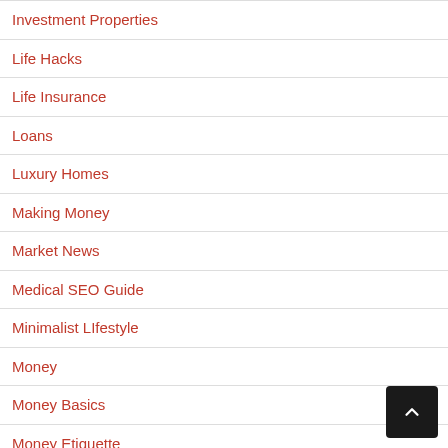Investment Properties
Life Hacks
Life Insurance
Loans
Luxury Homes
Making Money
Market News
Medical SEO Guide
Minimalist LIfestyle
Money
Money Basics
Money Etiquette
Money Management
Mo...